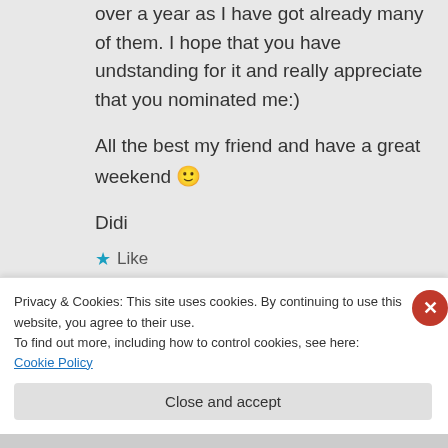over a year as I have got already many of them. I hope that you have undstanding for it and really appreciate that you nominated me:)

All the best my friend and have a great weekend 🙂
Didi
★ Like
Log in to Reply
Privacy & Cookies: This site uses cookies. By continuing to use this website, you agree to their use.
To find out more, including how to control cookies, see here: Cookie Policy
Close and accept